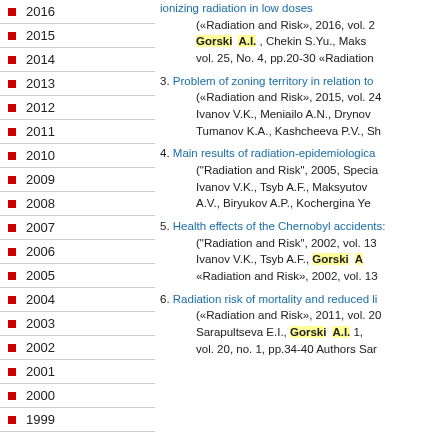2016
2015
2014
2013
2012
2011
2010
2009
2008
2007
2006
2005
2004
2003
2002
2001
2000
1999
ionizing radiation in low doses
(«Radiation and Risk», 2016, vol. 25...
Gorski A.I., Chekin S.Yu., Maks...
vol. 25, No. 4, pp.20-30 «Radiation
3. Problem of zoning territory in relation to...
(«Radiation and Risk», 2015, vol. 24...
Ivanov V.K., Meniailo A.N., Drynov...
Tumanov K.A., Kashcheeva P.V., Sh...
4. Main results of radiation-epidemiological...
("Radiation and Risk", 2005, Specia...
Ivanov V.K., Tsyb A.F., Maksyutov...
A.V., Biryukov A.P., Kochergina Ye...
5. Health effects of the Chernobyl accidents:...
("Radiation and Risk", 2002, vol. 13...
Ivanov V.K., Tsyb A.F., Gorski A...
«Radiation and Risk», 2002, vol. 13...
6. Radiation risk of mortality and reduced li...
(«Radiation and Risk», 2011, vol. 20...
Sarapultseva E.I., Gorski A.I. 1,...
vol. 20, no. 1, pp.34-40 Authors Sar...